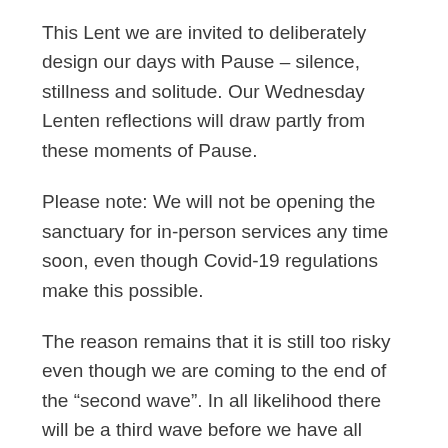This Lent we are invited to deliberately design our days with Pause – silence, stillness and solitude. Our Wednesday Lenten reflections will draw partly from these moments of Pause.
Please note: We will not be opening the sanctuary for in-person services any time soon, even though Covid-19 regulations make this possible.
The reason remains that it is still too risky even though we are coming to the end of the “second wave”. In all likelihood there will be a third wave before we have all been vaccinated. And if trends continue, the third wave may prove to be more deadly than the first and second. For example, this week we were informed by our Covid-19 advisory team that “during the first wave it took three months